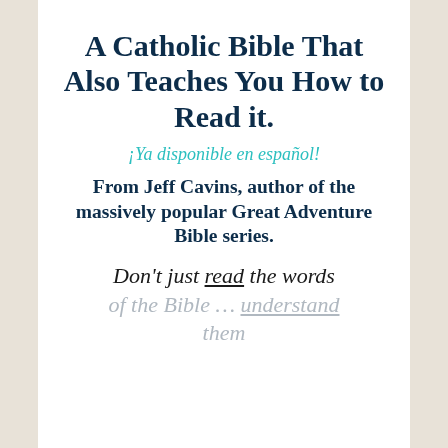A Catholic Bible That Also Teaches You How to Read it.
¡Ya disponible en español!
From Jeff Cavins, author of the massively popular Great Adventure Bible series.
Don't just read the words of the Bible … understand them